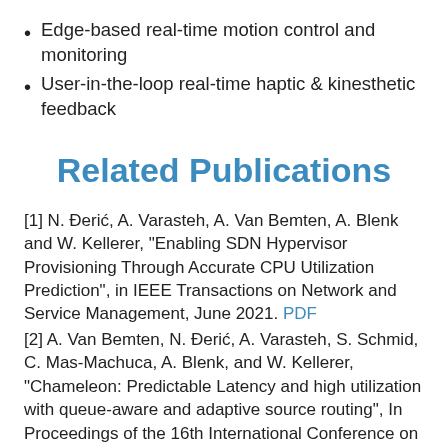Edge-based real-time motion control and monitoring
User-in-the-loop real-time haptic & kinesthetic feedback
Related Publications
[1] N. Đerić, A. Varasteh, A. Van Bemten, A. Blenk and W. Kellerer, "Enabling SDN Hypervisor Provisioning Through Accurate CPU Utilization Prediction", in IEEE Transactions on Network and Service Management, June 2021. PDF
[2] A. Van Bemten, N. Đerić, A. Varasteh, S. Schmid, C. Mas-Machuca, A. Blenk, and W. Kellerer, "Chameleon: Predictable Latency and high utilization with queue-aware and adaptive source routing", In Proceedings of the 16th International Conference on Emerging Networking EXperiments and Technologies (CoNEXT'20), ACM, 2020. PDF